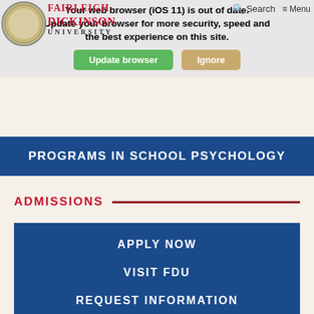Your web browser (iOS 11) is out of date. Update your browser for more security, speed and the best experience on this site.
PROGRAMS IN SCHOOL PSYCHOLOGY
ADMISSIONS
APPLY NOW
VISIT FDU
REQUEST INFORMATION